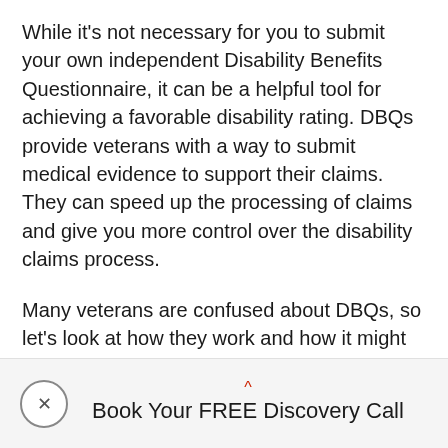While it's not necessary for you to submit your own independent Disability Benefits Questionnaire, it can be a helpful tool for achieving a favorable disability rating. DBQs provide veterans with a way to submit medical evidence to support their claims. They can speed up the processing of claims and give you more control over the disability claims process.
Many veterans are confused about DBQs, so let's look at how they work and how it might affect your VA claim process.
Book Your FREE Discovery Call